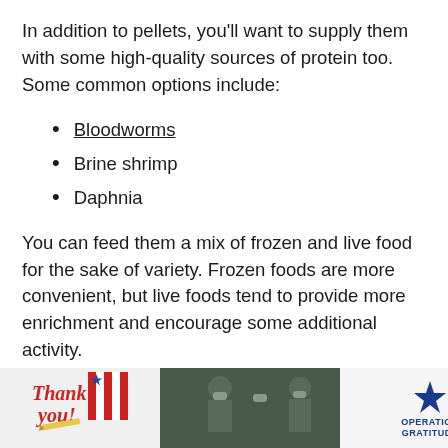In addition to pellets, you'll want to supply them with some high-quality sources of protein too. Some common options include:
Bloodworms
Brine shrimp
Daphnia
You can feed them a mix of frozen and live food for the sake of variety. Frozen foods are more convenient, but live foods tend to provide more enrichment and encourage some additional activity.
[Figure (other): Advertisement banner at bottom: 'Thank you!' text with US flag imagery on left, photo of soldiers in the middle, Operation Gratitude logo on right, weather widget on far right. Dark background bar.]